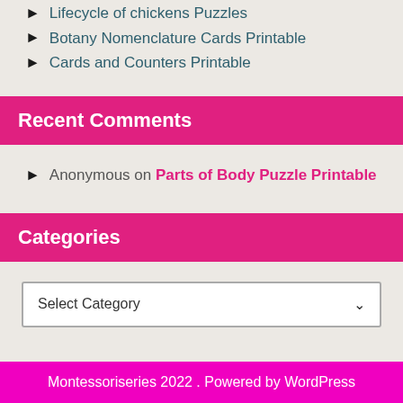Lifecycle of chickens Puzzles
Botany Nomenclature Cards Printable
Cards and Counters Printable
Recent Comments
Anonymous on Parts of Body Puzzle Printable
Categories
Select Category
Montessoriseries 2022 . Powered by WordPress